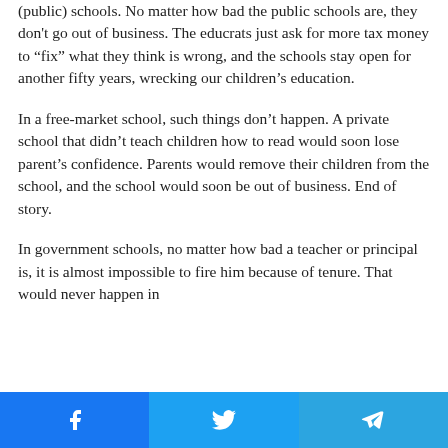(public) schools. No matter how bad the public schools are, they don't go out of business. The educrats just ask for more tax money to “fix” what they think is wrong, and the schools stay open for another fifty years, wrecking our children’s education.
In a free-market school, such things don’t happen. A private school that didn’t teach children how to read would soon lose parent’s confidence. Parents would remove their children from the school, and the school would soon be out of business. End of story.
In government schools, no matter how bad a teacher or principal is, it is almost impossible to fire him because of tenure. That would never happen in